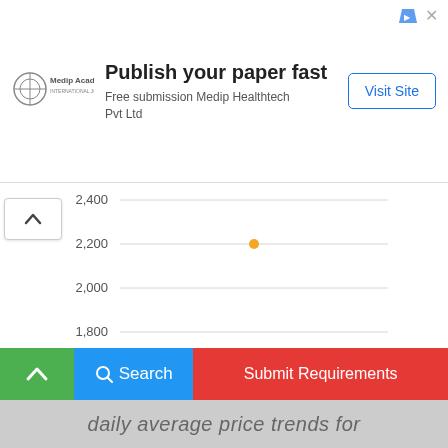[Figure (other): Advertisement banner for Medip Academy - Publish your paper fast. Free submission Medip Healthtech Pvt Ltd with Visit Site button.]
[Figure (scatter-plot): Daily average price trends]
daily average price trends for